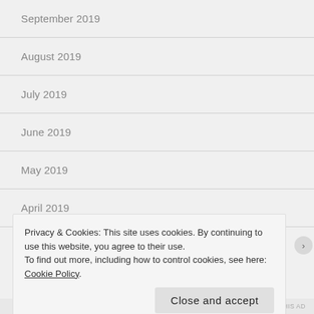September 2019
August 2019
July 2019
June 2019
May 2019
April 2019
March 2019
Privacy & Cookies: This site uses cookies. By continuing to use this website, you agree to their use.
To find out more, including how to control cookies, see here: Cookie Policy
REPORT THIS AD